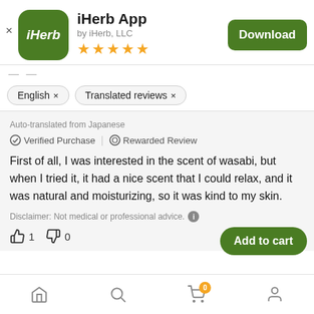[Figure (screenshot): iHerb app listing screenshot showing app icon, name, developer, stars, download button, filter chips, and a translated review with actions and bottom navigation bar]
iHerb App
by iHerb, LLC
★★★★★
Download
English ×
Translated reviews ×
Auto-translated from Japanese
✓ Verified Purchase | ⊙ Rewarded Review
First of all, I was interested in the scent of wasabi, but when I tried it, it had a nice scent that I could relax, and it was natural and moisturizing, so it was kind to my skin.
Disclaimer: Not medical or professional advice. ℹ
👍 1   👎 0   Report abuse
Add to cart